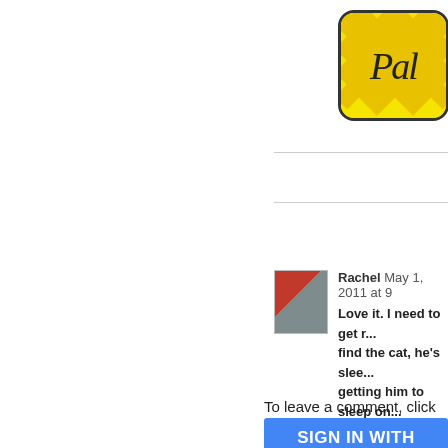[Figure (logo): Partial logo with yellow chevron/zigzag background and stylized text 'Pal' visible, black rounded border box]
Rachel  May 1, 2011 at 9
Love it. I need to get r... find the cat, he's slee... getting him to sleep on...
Reply
To leave a comment, click
SIGN IN WITH GOOGLE